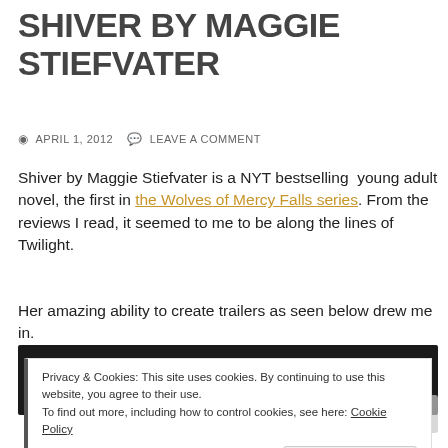SHIVER BY MAGGIE STIEFVATER
APRIL 1, 2012   LEAVE A COMMENT
Shiver by Maggie Stiefvater is a NYT bestselling young adult novel, the first in the Wolves of Mercy Falls series. From the reviews I read, it seemed to me to be along the lines of Twilight.
Her amazing ability to create trailers as seen below drew me in.
[Figure (screenshot): Dark video player thumbnail]
Privacy & Cookies: This site uses cookies. By continuing to use this website, you agree to their use. To find out more, including how to control cookies, see here: Cookie Policy